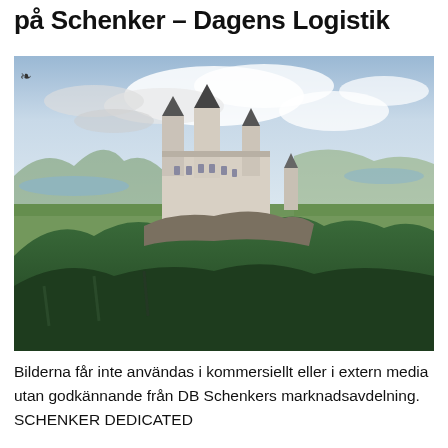på Schenker – Dagens Logistik
[Figure (photo): Aerial panoramic photo of Neuschwanstein Castle perched on a forested hill, surrounded by green valleys, lakes, and mountains with a partly cloudy sky in the background.]
Bilderna får inte användas i kommersiellt eller i extern media utan godkännande från DB Schenkers marknadsavdelning. SCHENKER DEDICATED